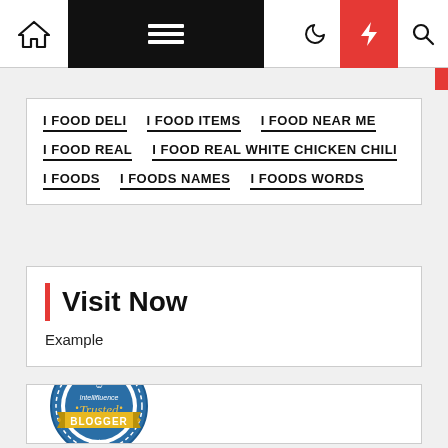Navigation bar with home, menu, moon, lightning, search icons
I FOOD DELI
I FOOD ITEMS
I FOOD NEAR ME
I FOOD REAL
I FOOD REAL WHITE CHICKEN CHILI
I FOODS
I FOODS NAMES
I FOODS WORDS
Visit Now
Example
[Figure (logo): Intellifluence Trusted Blogger badge — circular blue badge with gold ribbon banner]